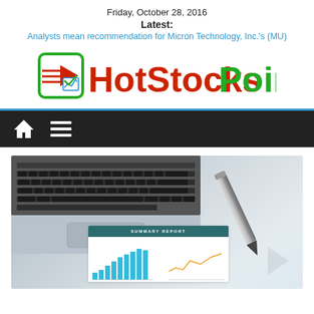Friday, October 28, 2016
Latest:
Analysts mean recommendation for Micron Technology, Inc.'s (MU)
[Figure (logo): HotStocksPoint logo with green-bordered icon and red/green text]
[Figure (photo): Laptop keyboard with a summary report document showing bar chart and pen]